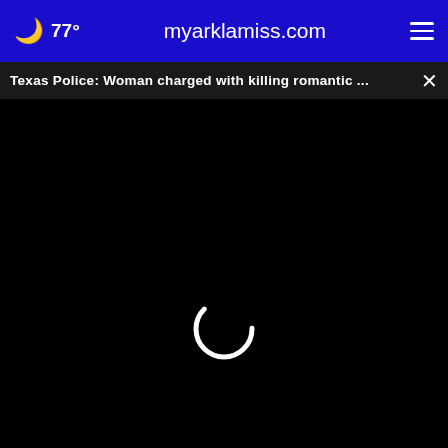77° myarklamiss.com
Texas Police: Woman charged with killing romantic ...
[Figure (screenshot): Video player with black background showing loading spinner (white arc), progress bar with white dot at left, and playback controls: play button, mute icon, 00:00 timestamp, captions icon, fullscreen icon]
* By clicking "NEXT" you agree to the following: We use cookies to track your survey answers. If you would like to continue with this survey, please read and agree to the CivicScience Privacy Policy and Terms of Use
[Figure (photo): Ameriprise Financial advertisement: Let me help you get the most out of your money. 116 E Elm St El Dorado, AR 71730. 870.444.5505. Features logo with star and photo of a man in a suit.]